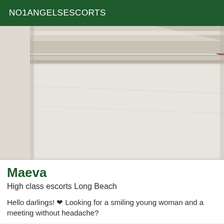NO1ANGELSESCORTS
[Figure (photo): A close-up photo of a light-colored surface, possibly a window blind or shutter with beige/cream tones, with a dark reddish-brown area visible in the upper right corner.]
Maeva
High class escorts Long Beach
Hello darlings! ❤ Looking for a smiling young woman and a meeting without headache?